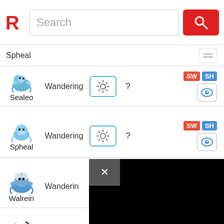[Figure (screenshot): Website header with a red R logo and a search bar with magnifying glass button]
Spheal
Sealeo – Wandering, Ice weather, ?, SW SH
Spheal – Wandering, Ice weather, ?, SW SH
Walrein – Wandering (partially visible)
Absol – Anywhere (partially visible)
Audino – Anywhere, mixed weather, 1%, SW SH